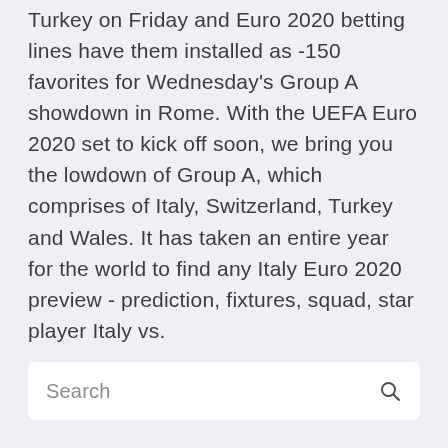Turkey on Friday and Euro 2020 betting lines have them installed as -150 favorites for Wednesday's Group A showdown in Rome. With the UEFA Euro 2020 set to kick off soon, we bring you the lowdown of Group A, which comprises of Italy, Switzerland, Turkey and Wales. It has taken an entire year for the world to find any Italy Euro 2020 preview - prediction, fixtures, squad, star player Italy vs.
Search